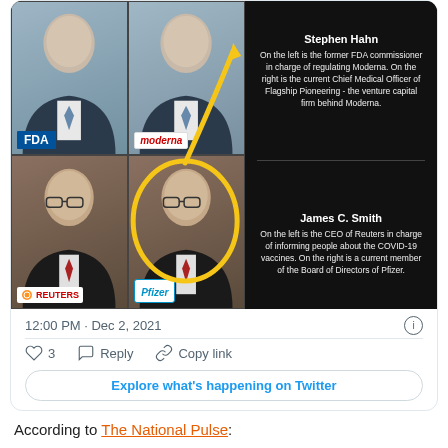[Figure (photo): A composite image showing four photos of men arranged in a 2x2 grid. Top-left has an FDA logo, top-right has a Moderna logo, bottom-left has a Reuters logo, bottom-right has a Pfizer logo. A yellow circle and arrow annotation overlays the grid. On the right side is a black panel with text identifying 'Stephen Hahn' (top) and 'James C. Smith' (bottom) with descriptions.]
12:00 PM · Dec 2, 2021
3  Reply  Copy link
Explore what's happening on Twitter
According to The National Pulse: